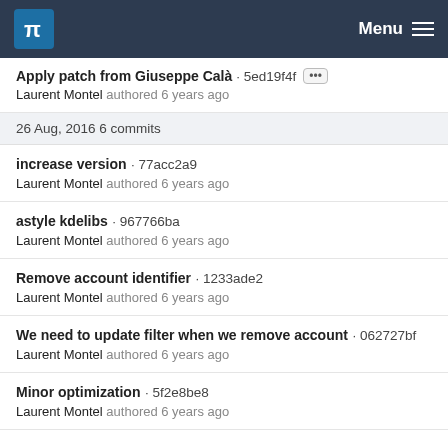KDE Menu
Apply patch from Giuseppe Calà · 5ed19f4f
Laurent Montel authored 6 years ago
26 Aug, 2016 6 commits
increase version · 77acc2a9
Laurent Montel authored 6 years ago
astyle kdelibs · 967766ba
Laurent Montel authored 6 years ago
Remove account identifier · 1233ade2
Laurent Montel authored 6 years ago
We need to update filter when we remove account · 062727bf
Laurent Montel authored 6 years ago
Minor optimization · 5f2e8be8
Laurent Montel authored 6 years ago